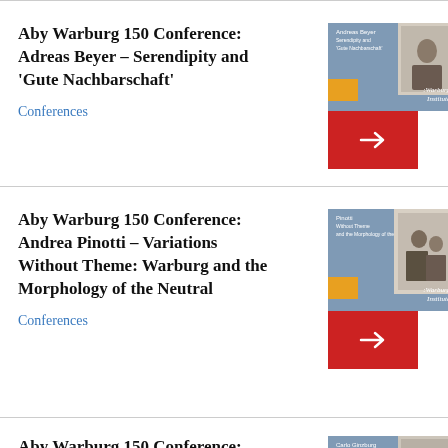Aby Warburg 150 Conference: Adreas Beyer – Serendipity and 'Gute Nachbarschaft'
Conferences
[Figure (illustration): Conference card thumbnail with blue-grey background, photo, yellow accent box, and red arrow button]
Aby Warburg 150 Conference: Andrea Pinotti – Variations Without Theme: Warburg and the Morphology of the Neutral
Conferences
[Figure (illustration): Conference card thumbnail with blue-grey background, photo, yellow accent box, and red arrow button]
Aby Warburg 150 Conference: Carlo Ginzburg – Aby Warburg: